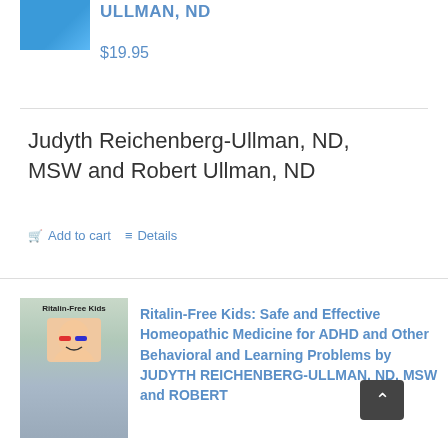[Figure (photo): Book cover thumbnail at top left, shown in blue tones]
ULLMAN, ND
$19.95
Judyth Reichenberg-Ullman, ND, MSW and Robert Ullman, ND
Add to cart
Details
[Figure (photo): Book cover for Ritalin-Free Kids featuring a child wearing 3D glasses]
Ritalin-Free Kids: Safe and Effective Homeopathic Medicine for ADHD and Other Behavioral and Learning Problems by JUDYTH REICHENBERG-ULLMAN, ND, MSW and ROBERT